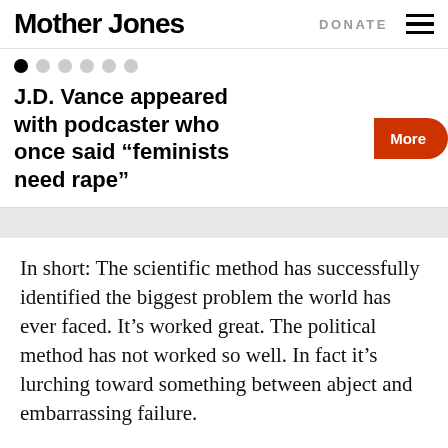Mother Jones | DONATE
J.D. Vance appeared with podcaster who once said “feminists need rape”
In short: The scientific method has successfully identified the biggest problem the world has ever faced. It’s worked great. The political method has not worked so well. In fact it’s lurching toward something between abject and embarrassing failure.
And yet the game isn’t quite over yet, because one team has barely begun to take the field. And that’s